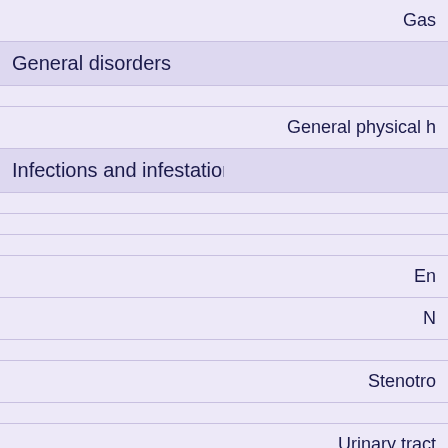|  | Gas |
| General disorders |  |
|  | General physical h |
| Infections and infestations |  |
|  |  |
|  |  |
|  |  |
|  | En |
|  | N |
|  |  |
|  | Stenotro |
|  |  |
|  | Urinary tract |
| Respiratory, thoracic and mediastinal disorders |  |
|  | Acute |
|  | Inters |